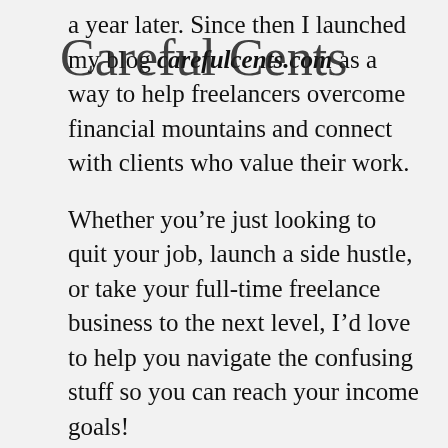[Figure (logo): Careful Cents cursive script logo overlaid on top-left of page]
a year later. Since then I launched my blog carefulcents.com as a way to help freelancers overcome financial mountains and connect with clients who value their work.
Whether you’re just looking to quit your job, launch a side hustle, or take your full-time freelance business to the next level, I’d love to help you navigate the confusing stuff so you can reach your income goals!